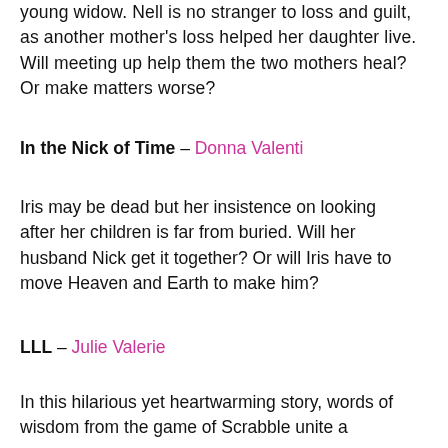young widow. Nell is no stranger to loss and guilt, as another mother's loss helped her daughter live. Will meeting up help the two mothers heal? Or make matters worse?
In the Nick of Time – Donna Valenti
Iris may be dead but her insistence on looking after her children is far from buried. Will her husband Nick get it together? Or will Iris have to move Heaven and Earth to make him?
LLL – Julie Valerie
In this hilarious yet heartwarming story, words of wisdom from the game of Scrabble unite a